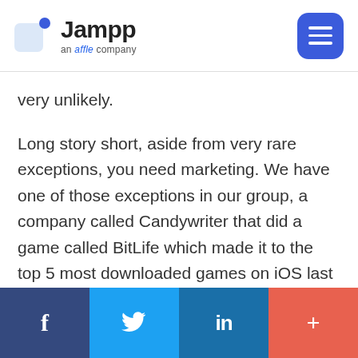Jampp — an affle company
very unlikely.
Long story short, aside from very rare exceptions, you need marketing. We have one of those exceptions in our group, a company called Candywriter that did a game called BitLife which made it to the top 5 most downloaded games on iOS last year. But even that game is now doing a lot of performance
f  (Twitter)  in  +